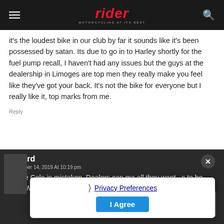rider — MOTORCYCLING AT ITS BEST
it's the loudest bike in our club by far it sounds like it's been possessed by satan. Its due to go in to Harley shortly for the fuel pump recall, I haven't had any issues but the guys at the dealership in Limoges are top men they really make you feel like they've got your back. It's not the bike for everyone but I really like it, top marks from me.
Reply
Wizard
December 14, 2019 At 10:19 pm
Wolfie Cole in mistaken, Dealers can ma all they want. s to be true. WIZ.
Privacy Preferences
I Agree